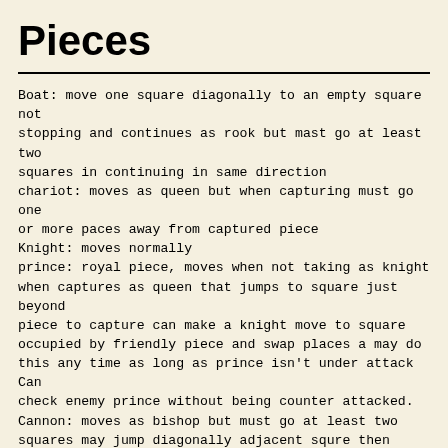Pieces
Boat: move one square diagonally to an empty square not stopping and continues as rook but mast go at least two squares in continuing in same direction
chariot: moves as queen but when capturing must go one or more paces away from captured piece
Knight: moves normally
prince: royal piece, moves when not taking as knight when captures as queen that jumps to square just beyond piece to capture can make a knight move to square occupied by friendly piece and swap places a may do this any time as long as prince isn't under attack Can check enemy prince without being counter attacked.
Cannon: moves as bishop but must go at least two squares may jump diagonally adjacent squre then contiue as bishop in same direction can only jump first square this is NOT the move of the vao
Pawn: moves one square diagonally forwards if hasn't